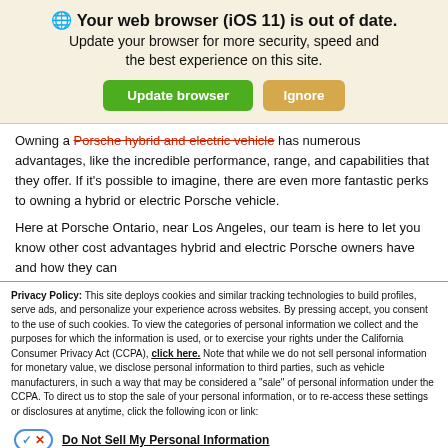🌐 Your web browser (iOS 11) is out of date. Update your browser for more security, speed and the best experience on this site.
Owning a Porsche hybrid and electric vehicle has numerous advantages, like the incredible performance, range, and capabilities that they offer. If it's possible to imagine, there are even more fantastic perks to owning a hybrid or electric Porsche vehicle.
Here at Porsche Ontario, near Los Angeles, our team is here to let you know other cost advantages hybrid and electric Porsche owners have and how they can
Privacy Policy: This site deploys cookies and similar tracking technologies to build profiles, serve ads, and personalize your experience across websites. By pressing accept, you consent to the use of such cookies. To view the categories of personal information we collect and the purposes for which the information is used, or to exercise your rights under the California Consumer Privacy Act (CCPA), click here. Note that while we do not sell personal information for monetary value, we disclose personal information to third parties, such as vehicle manufacturers, in such a way that may be considered a "sale" of personal information under the CCPA. To direct us to stop the sale of your personal information, or to re-access these settings or disclosures at anytime, click the following icon or link:
Do Not Sell My Personal Information
Language: English
Powered by ComplyAuto
Accept and Continue → | California Privacy Disclosures | ×